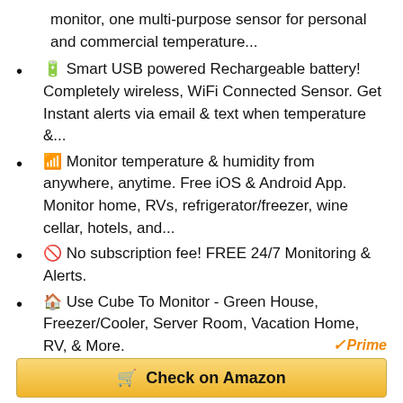monitor, one multi-purpose sensor for personal and commercial temperature...
🔋 Smart USB powered Rechargeable battery! Completely wireless, WiFi Connected Sensor. Get Instant alerts via email & text when temperature &...
📡 Monitor temperature & humidity from anywhere, anytime. Free iOS & Android App. Monitor home, RVs, refrigerator/freezer, wine cellar, hotels, and...
🚫 No subscription fee! FREE 24/7 Monitoring & Alerts.
🏠 Use Cube To Monitor - Green House, Freezer/Cooler, Server Room, Vacation Home, RV, & More.
Prime
Check on Amazon